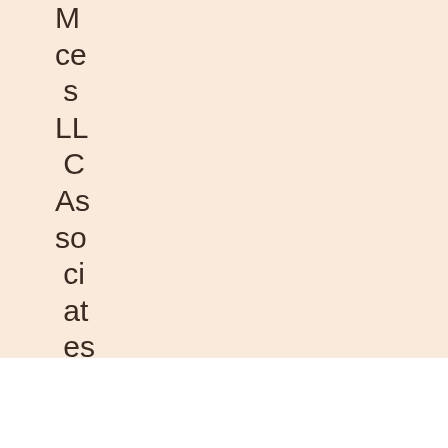M ces LLC Associates Program, an